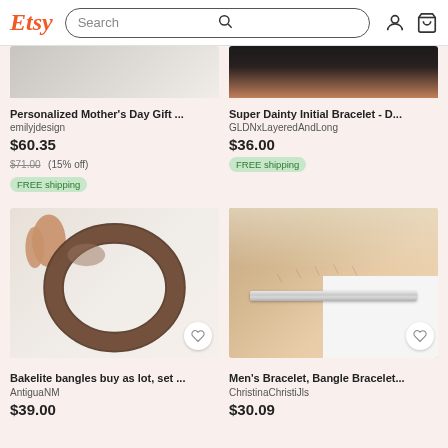Etsy | Search
[Figure (screenshot): Partial top of bracelet product image - Personalized Mother's Day Gift]
[Figure (screenshot): Partial top of bracelet product image - Super Dainty Initial Bracelet]
Personalized Mother's Day Gift ...
emilyjdesign
$60.35
$71.00 (15% off)
FREE shipping
Super Dainty Initial Bracelet - D...
GLDNxLayeredAndLong
$36.00
FREE shipping
[Figure (screenshot): Brown bakelite bangle bracelet held by fingers against white background]
[Figure (screenshot): Silver men's bangle bracelet worn on wrist, outdoor background]
Bakelite bangles buy as lot, set ...
AntiguaNM
$39.00
Men's Bracelet, Bangle Bracelet...
ChristinaChristiJls
$30.09